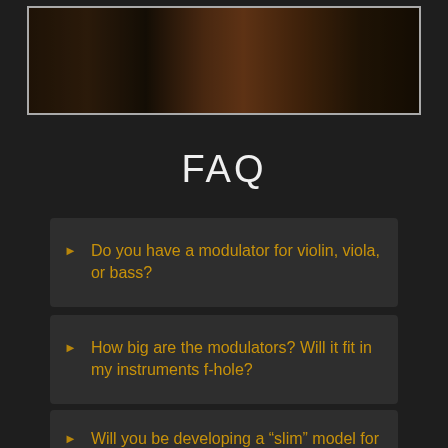[Figure (photo): Photo of string instruments including what appears to be cellos or double basses in a dark room setting]
FAQ
Do you have a modulator for violin, viola, or bass?
How big are the modulators? Will it fit in my instruments f-hole?
Will you be developing a “slim” model for the cello?